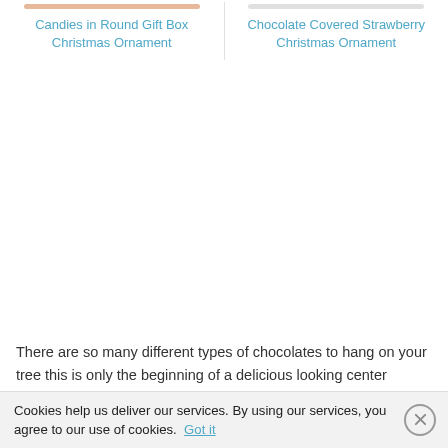Candies in Round Gift Box Christmas Ornament
Chocolate Covered Strawberry Christmas Ornament
There are so many different types of chocolates to hang on your tree this is only the beginning of a delicious looking center
Cookies help us deliver our services. By using our services, you agree to our use of cookies. Got it